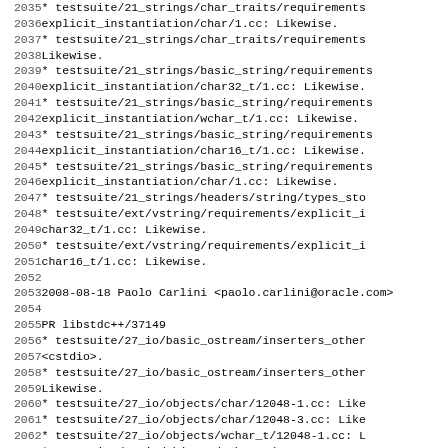Code listing lines 2035-2066 from a changelog/commit log file